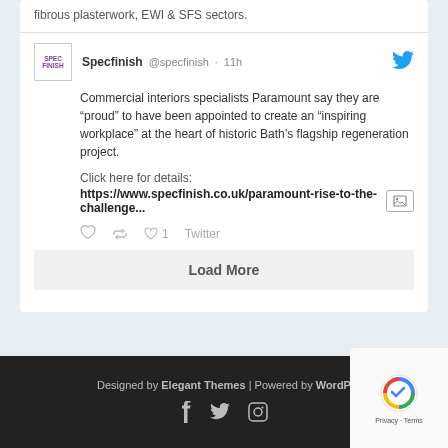fibrous plasterwork, EWI & SFS sectors.
[Figure (screenshot): Tweet from @specfinish account with Specfinish logo avatar and Twitter bird icon, timestamped 11h]
Commercial interiors specialists Paramount say they are “proud” to have been appointed to create an “inspiring workplace” at the heart of historic Bath’s flagship regeneration project.
Click here for details: https://www.specfinish.co.uk/paramount-rise-to-the-challenge...
Load More
Designed by Elegant Themes | Powered by WordPress